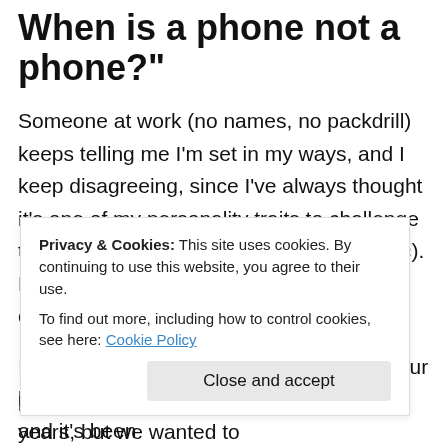When is a phone not a phone?"
Someone at work (no names, no packdrill) keeps telling me I'm set in my ways, and I keep disagreeing, since I've always thought it's one of my personality traits to challenge the status quo (see Apparatchik vs Autistic). But I've been forced to confront my own conservatism when it comes to phones.
I've had my E650 since April 23rd 2007. Our phones normally got replaced after two years, but we wanted to
Privacy & Cookies: This site uses cookies. By continuing to use this website, you agree to their use. To find out more, including how to control cookies, see here: Cookie Policy
keys has done horrible things to the finish, and it's been